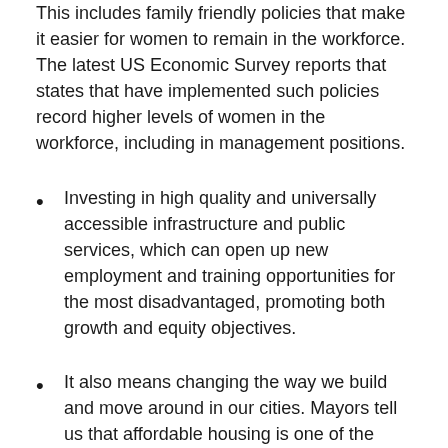This includes family friendly policies that make it easier for women to remain in the workforce. The latest US Economic Survey reports that states that have implemented such policies record higher levels of women in the workforce, including in management positions.
Investing in high quality and universally accessible infrastructure and public services, which can open up new employment and training opportunities for the most disadvantaged, promoting both growth and equity objectives.
It also means changing the way we build and move around in our cities. Mayors tell us that affordable housing is one of the biggest challenges they face in their city, and the topic remains at the top of the global urban agenda. But, too often, housing policies are divorced from a broader strategy for urban development, transport and access to services. We need housing policies that aim to build cities, not just houses. And here I